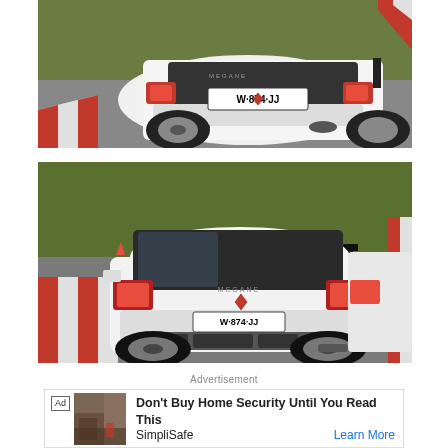[Figure (photo): White Renault Megane RS sport hatchback photographed from rear-three-quarter angle on a racing circuit (Nurburgring) with red/white kerbing and green grass, license plate W·874·JJ, closer/higher angle shot]
[Figure (photo): White Renault Megane RS sport hatchback photographed from directly behind on a racing circuit (Nurburgring) with red/white kerbing and green grass, license plate W·874·JJ, wider angle showing full rear of car with wing and diffuser]
Advertisement
Don't Buy Home Security Until You Read This SimpliSafe  Learn More